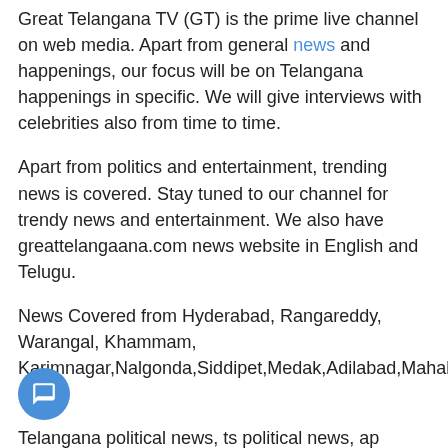Great Telangana TV (GT) is the prime live channel on web media. Apart from general news and happenings, our focus will be on Telangana happenings in specific. We will give interviews with celebrities also from time to time.
Apart from politics and entertainment, trending news is covered. Stay tuned to our channel for trendy news and entertainment. We also have greattelangaana.com news website in English and Telugu.
News Covered from Hyderabad, Rangareddy, Warangal, Khammam, Karimnagar,Nalgonda,Siddipet,Medak,Adilabad,Mahaboob nagar
Telangana political news, ts political news, ap political news.
Tealanagana Political News On CM Sri Kalvakuntla